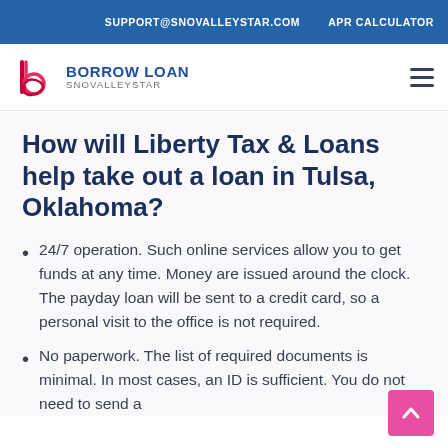SUPPORT@SNOVALLEYSTAR.COM   APR CALCULATOR
[Figure (logo): Borrow Loan SnovalleyStar logo with stylized 'b' icon in pink/crimson and text 'BORROW LOAN SNOVALLEYSTAR']
How will Liberty Tax & Loans help take out a loan in Tulsa, Oklahoma?
24/7 operation. Such online services allow you to get funds at any time. Money are issued around the clock. The payday loan will be sent to a credit card, so a personal visit to the office is not required.
No paperwork. The list of required documents is minimal. In most cases, an ID is sufficient. You do not need to send a